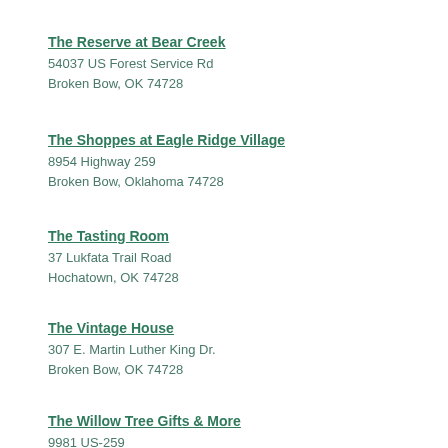The Reserve at Bear Creek
54037 US Forest Service Rd
Broken Bow, OK 74728
The Shoppes at Eagle Ridge Village
8954 Highway 259
Broken Bow, Oklahoma 74728
The Tasting Room
37 Lukfata Trail Road
Hochatown, OK 74728
The Vintage House
307 E. Martin Luther King Dr.
Broken Bow, OK 74728
The Willow Tree Gifts & More
9981 US-259